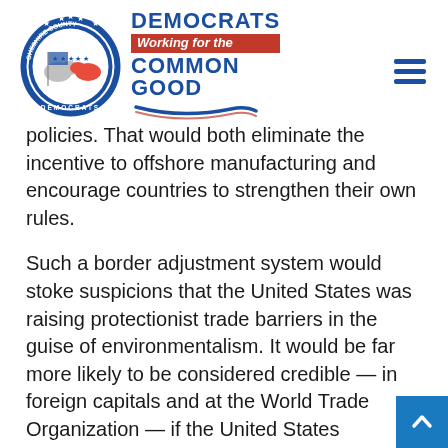[Figure (logo): Cheshire County Democrats logo with circular badge showing donkey and elephant, and tagline 'Democrats Working for the Common Good' in blue and red with decorative swirl]
policies. That would both eliminate the incentive to offshore manufacturing and encourage countries to strengthen their own rules.
Such a border adjustment system would stoke suspicions that the United States was raising protectionist trade barriers in the guise of environmentalism. It would be far more likely to be considered credible — in foreign capitals and at the World Trade Organization — if the United States remained party to the Paris Agreement, the 2015 climate accord that every nation in the world has